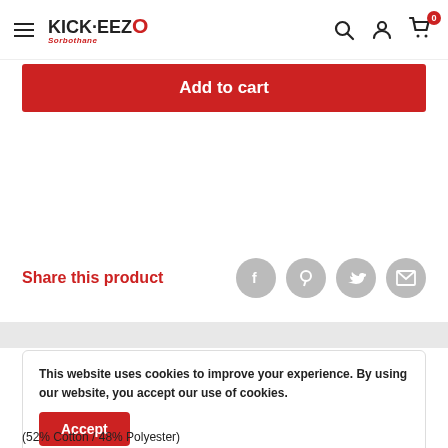KICK-EEZO — navigation header with hamburger menu, logo, search, account, and cart icons
Add to cart
Share this product
This website uses cookies to improve your experience. By using our website, you accept our use of cookies.
(52% Cotton / 48% Polyester)